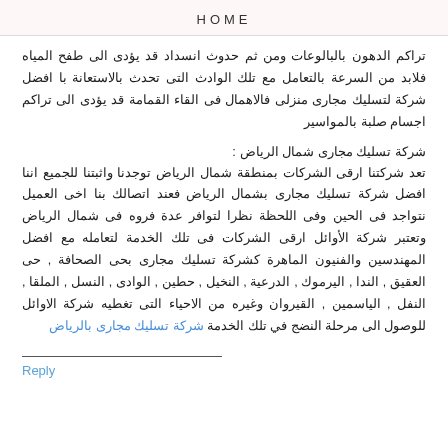HOME
تراكم الدهون بالبالوعات ومن ثم حدوث انسداد قد يؤدى الى طفح المياه فلابد من السرعة بالتعامل مع تلك الوادث التى تحدث بالاستعانة با افضل شركة لتسليك مجارى منزلى فالاهمال فى القاء القمامة قد يؤدى الى تراكم اجسام صلبة بالمواسير
شركة تسليك مجارى شمال الرياض :
تعد شركتنا ارقى الشركات بمنطقة شمال الرياض توجدنا واثبتنا للجميع اننا افضل شركة تسليك مجارى بشمال الرياض فعند اتصالك بنا اخى العميل نتواجد فى الحين وفى اللحظة نظرا لتوافر عدة فروه فى شمال الرياض وتعتبر شركة الأوائل ارقى الشركات فى تلك الخدمة لتعامله مع افضل المهندسين والفنيون الماهرة كشركة تسليك مجارى بحى الصحافة , حى العقيق , الندا , اليرموك , الدرعية , النخيل , حطين , الوادى , النسل , الملقا , النفل , الياسمين , القيروان وغيره من الاحياء التى تغطيه شركة الاوائل للوصول الى مرحلة النضج في تلك الخدمة شركة تسليك مجارى بالرياض
Reply